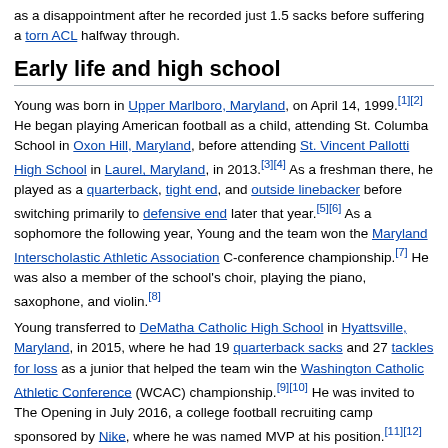as a disappointment after he recorded just 1.5 sacks before suffering a torn ACL halfway through.
Early life and high school
Young was born in Upper Marlboro, Maryland, on April 14, 1999.[1][2] He began playing American football as a child, attending St. Columba School in Oxon Hill, Maryland, before attending St. Vincent Pallotti High School in Laurel, Maryland, in 2013.[3][4] As a freshman there, he played as a quarterback, tight end, and outside linebacker before switching primarily to defensive end later that year.[5][6] As a sophomore the following year, Young and the team won the Maryland Interscholastic Athletic Association C-conference championship.[7] He was also a member of the school's choir, playing the piano, saxophone, and violin.[8]
Young transferred to DeMatha Catholic High School in Hyattsville, Maryland, in 2015, where he had 19 quarterback sacks and 27 tackles for loss as a junior that helped the team win the Washington Catholic Athletic Conference (WCAC) championship.[9][10] He was invited to The Opening in July 2016, a college football recruiting camp sponsored by Nike, where he was named MVP at his position.[11][12][13] As a senior in 2016, he had 19